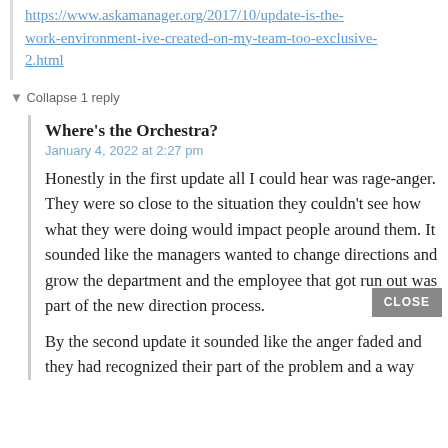https://www.askamanager.org/2017/10/update-is-the-work-environment-ive-created-on-my-team-too-exclusive-2.html
▼ Collapse 1 reply
Where's the Orchestra?
January 4, 2022 at 2:27 pm
Honestly in the first update all I could hear was rage-anger. They were so close to the situation they couldn't see how what they were doing would impact people around them. It sounded like the managers wanted to change directions and grow the department and the employee that got run out was part of the new direction process.
By the second update it sounded like the anger faded and they had recognized their part of the problem and a way